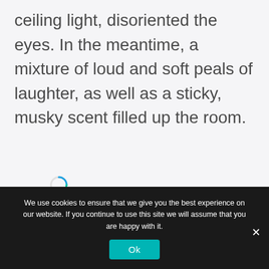Their pale smooth skin reflected the ceiling light, disoriented the eyes. In the meantime, a mixture of loud and soft peals of laughter, as well as a sticky, musky scent filled up the room.
[Figure (other): A small spinning/loading icon (circular arrow in blue and teal colors), indicating a loading state on the webpage.]
We use cookies to ensure that we give you the best experience on our website. If you continue to use this site we will assume that you are happy with it.